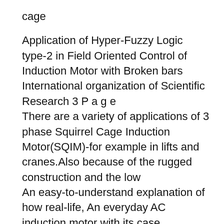cage
Application of Hyper-Fuzzy Logic type-2 in Field Oriented Control of Induction Motor with Broken bars International organization of Scientific Research 3 P a g e
There are a variety of applications of 3 phase Squirrel Cage Induction Motor(SQIM)-for example in lifts and cranes.Also because of the rugged construction and the low
An easy-to-understand explanation of how real-life, An everyday AC induction motor with its case Fundamentals, Types and Applications by Austin Hughes
Science of Everyday Applications Many electrical A step-down transformer uses electromagnetic